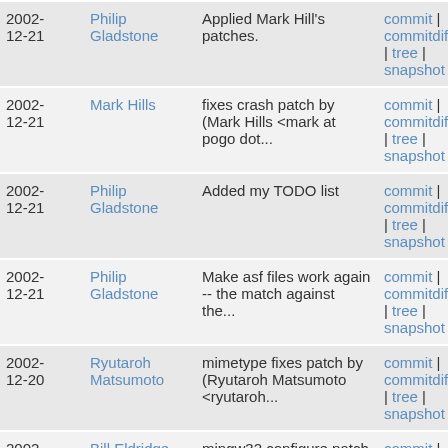| Date | Author | Message | Links |
| --- | --- | --- | --- |
| 2002-12-21 | Philip Gladstone | Applied Mark Hill's patches. | commit | commitdiff | tree | snapshot |
| 2002-12-21 | Mark Hills | fixes crash patch by (Mark Hills <mark at pogo dot... | commit | commitdiff | tree | snapshot |
| 2002-12-21 | Philip Gladstone | Added my TODO list | commit | commitdiff | tree | snapshot |
| 2002-12-21 | Philip Gladstone | Make asf files work again -- the match against the... | commit | commitdiff | tree | snapshot |
| 2002-12-20 | Ryutaroh Matsumoto | mimetype fixes patch by (Ryutaroh Matsumoto <ryutaroh... | commit | commitdiff | tree | snapshot |
| 2002-12-20 | Bill Eldridge | mingw32 configure patch by (Bill Eldridge <bill at... | commit | commitdiff |